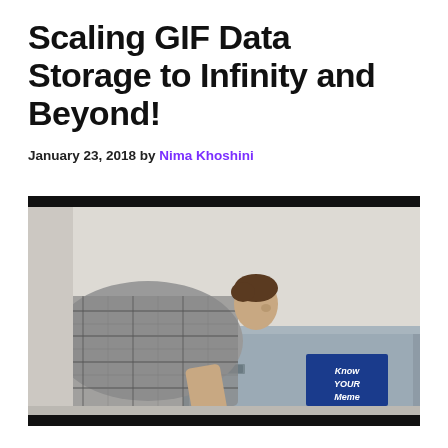Scaling GIF Data Storage to Infinity and Beyond!
January 23, 2018 by Nima Khoshini
[Figure (photo): A man in a plaid shirt leaning over a large metal filing cabinet or storage unit, with a blue 'Know Your Meme' label on the front corner. The scene is set against a plain white wall.]